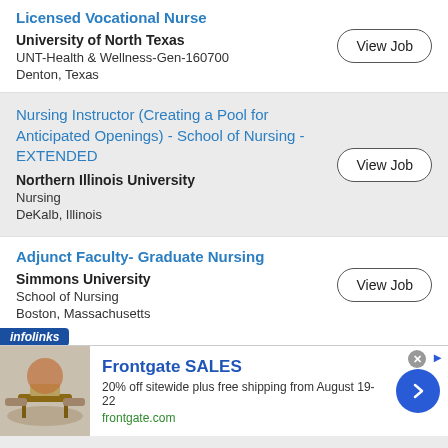Licensed Vocational Nurse
University of North Texas
UNT-Health & Wellness-Gen-160700
Denton, Texas
Nursing Instructor (Creating a Pool for Anticipated Openings) - School of Nursing - EXTENDED
Northern Illinois University
Nursing
DeKalb, Illinois
Adjunct Faculty- Graduate Nursing
Simmons University
School of Nursing
Boston, Massachusetts
[Figure (screenshot): Advertisement banner: Frontgate SALES - 20% off sitewide plus free shipping from August 19-22, frontgate.com, with outdoor furniture image and blue arrow button]